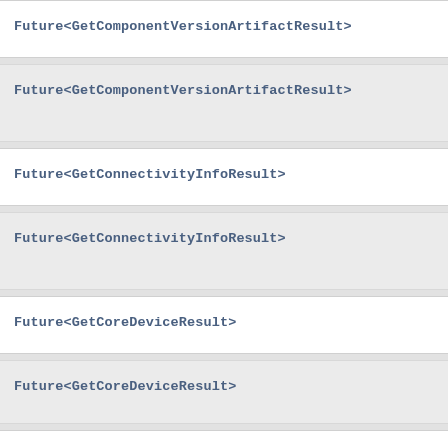Future<GetComponentVersionArtifactResult>
Future<GetComponentVersionArtifactResult>
Future<GetConnectivityInfoResult>
Future<GetConnectivityInfoResult>
Future<GetCoreDeviceResult>
Future<GetCoreDeviceResult>
Future<GetDeploymentResult>